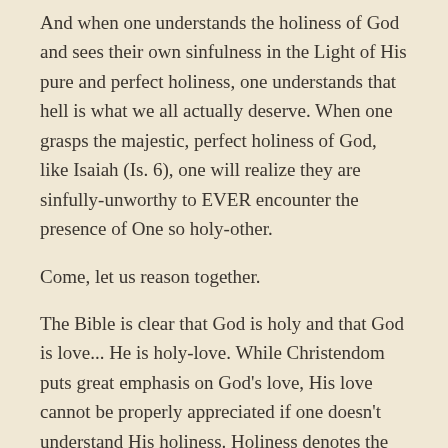And when one understands the holiness of God and sees their own sinfulness in the Light of His pure and perfect holiness, one understands that hell is what we all actually deserve. When one grasps the majestic, perfect holiness of God, like Isaiah (Is. 6), one will realize they are sinfully-unworthy to EVER encounter the presence of One so holy-other.
Come, let us reason together.
The Bible is clear that God is holy and that God is love... He is holy-love. While Christendom puts great emphasis on God's love, His love cannot be properly appreciated if one doesn't understand His holiness. Holiness denotes the absolute majesty and splendor of God, that He is distinctly transcendent from any other being or thing He has created. He is holy-other. Holiness describes the